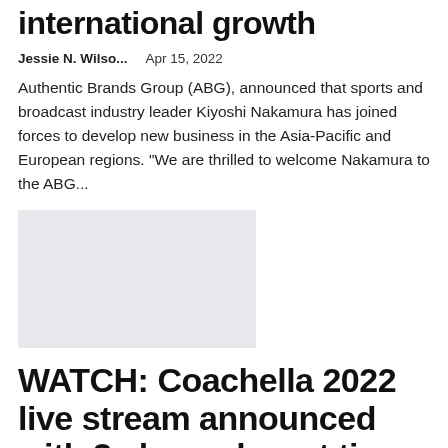international growth
Jessie N. Wilso...    Apr 15, 2022
Authentic Brands Group (ABG), announced that sports and broadcast industry leader Kiyoshi Nakamura has joined forces to develop new business in the Asia-Pacific and European regions. "We are thrilled to welcome Nakamura to the ABG...
[Figure (photo): Gray placeholder image for article]
WATCH: Coachella 2022 live stream announced with 3 channels, set times revealed